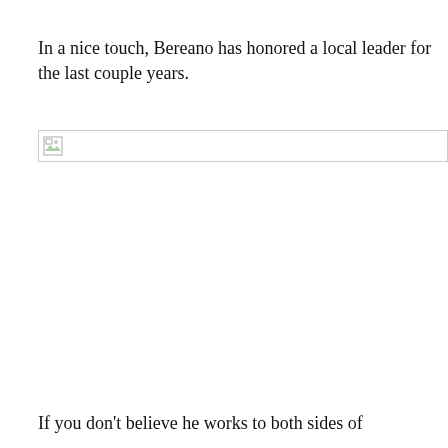In a nice touch, Bereano has honored a local leader for the last couple years.
[Figure (photo): Broken image placeholder — image failed to load, shown as a small broken image icon with a gray border bar.]
If you don’t believe he works to both sides of